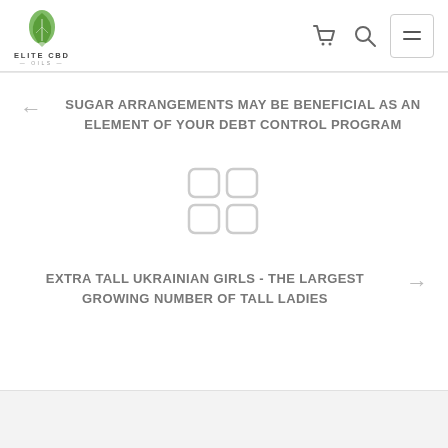[Figure (logo): Elite CBD Oils logo with green leaf/drop icon and text]
SUGAR ARRANGEMENTS MAY BE BENEFICIAL AS AN ELEMENT OF YOUR DEBT CONTROL PROGRAM
[Figure (other): Four rounded square grid icon placeholder]
EXTRA TALL UKRAINIAN GIRLS - THE LARGEST GROWING NUMBER OF TALL LADIES